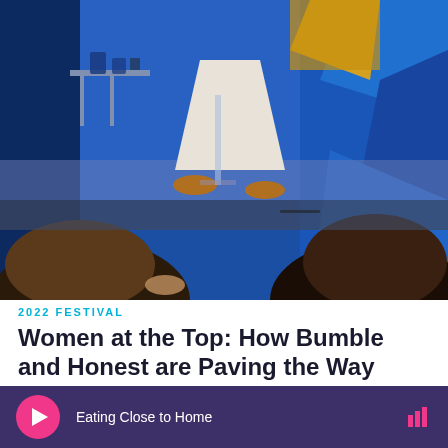[Figure (photo): Panel discussion on a blue-lit stage with audience members in foreground. A person in white trousers and yellow top is seated. Audience with dark hair is silhouetted in the foreground.]
2022 FESTIVAL
Women at the Top: How Bumble and Honest are Paving the Way
Video – 49m 36s
Eating Close to Home